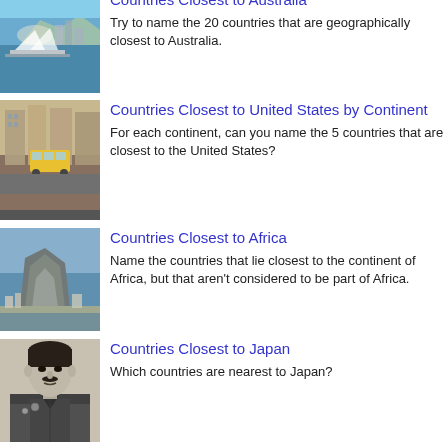Countries Closest to Australia
Try to name the 20 countries that are geographically closest to Australia.
Countries Closest to United States by Continent
For each continent, can you name the 5 countries that are closest to the United States?
Countries Closest to Africa
Name the countries that lie closest to the continent of Africa, but that aren't considered to be part of Africa.
Countries Closest to Japan
Which countries are nearest to Japan?